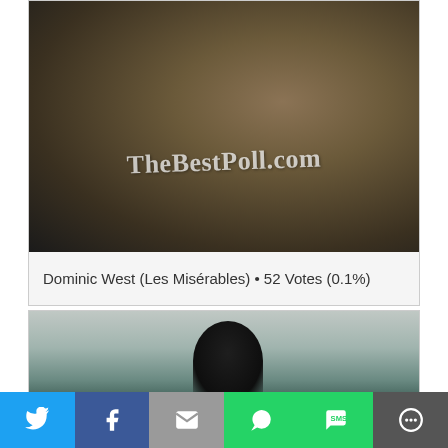[Figure (photo): Photo of Dominic West from Les Misérables with TheBestPoll.com watermark overlaid]
Dominic West (Les Misérables) • 52 Votes (0.1%)
[Figure (photo): Partially visible photo, second poll entry]
We use cookies on our website to give you the most relevant experience by remembering your preferences and repeat visits. By clicking "Accept All", you consent to the use of ALL the cookies. However, you may visit "Cookie Settings" to provide a controlled consent.
[Figure (infographic): Social sharing bar with Twitter, Facebook, Email, WhatsApp, SMS, and More buttons]